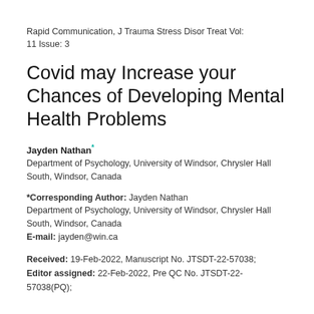Rapid Communication, J Trauma Stress Disor Treat Vol: 11 Issue: 3
Covid may Increase your Chances of Developing Mental Health Problems
Jayden Nathan*
Department of Psychology, University of Windsor, Chrysler Hall South, Windsor, Canada
*Corresponding Author: Jayden Nathan
Department of Psychology, University of Windsor, Chrysler Hall South, Windsor, Canada
E-mail: jayden@win.ca
Received: 19-Feb-2022, Manuscript No. JTSDT-22-57038;
Editor assigned: 22-Feb-2022, Pre QC No. JTSDT-22-57038(PQ);